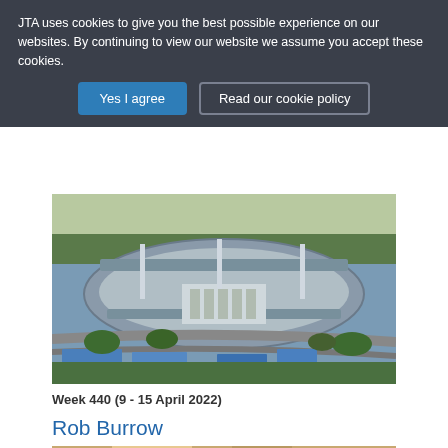JTA uses cookies to give you the best possible experience on our websites. By continuing to view our website we assume you accept these cookies.
Yes I agree
Read our cookie policy
[Figure (photo): Aerial view of a large sports stadium complex, likely Melbourne Park (Australian Open venue), with blue tennis courts visible in the foreground and a large oval stadium in the background.]
Week 440 (9 - 15 April 2022)
Rob Burrow
[Figure (photo): Partial photo at bottom of page, appears to show a person with light hair.]